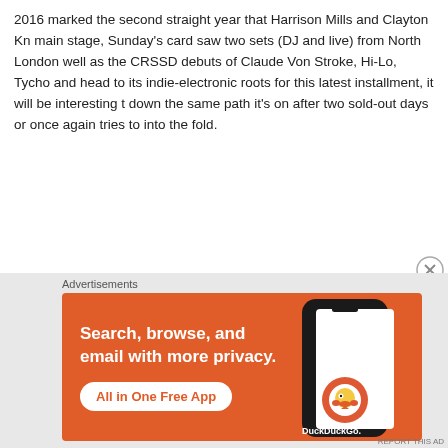2016 marked the second straight year that Harrison Mills and Clayton Kn... main stage, Sunday's card saw two sets (DJ and live) from North London... well as the CRSSD debuts of Claude Von Stroke, Hi-Lo, Tycho and head... to its indie-electronic roots for this latest installment, it will be interesting t... down the same path it's on after two sold-out days or once again tries to... into the fold.
[Figure (other): DuckDuckGo advertisement banner with orange background. Text reads 'Search, browse, and email with more privacy. All in One Free App' with a DuckDuckGo logo and phone mockup.]